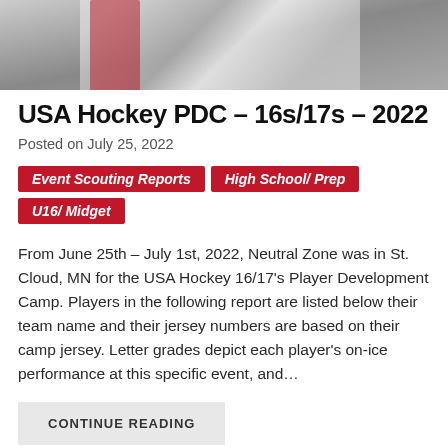[Figure (photo): Hockey player in white and dark uniform holding a stick, cropped to show upper body]
USA Hockey PDC – 16s/17s – 2022
Posted on July 25, 2022
Event Scouting Reports
High School/ Prep
U16/ Midget
From June 25th – July 1st, 2022, Neutral Zone was in St. Cloud, MN for the USA Hockey 16/17's Player Development Camp. Players in the following report are listed below their team name and their jersey numbers are based on their camp jersey. Letter grades depict each player's on-ice performance at this specific event, and…
CONTINUE READING